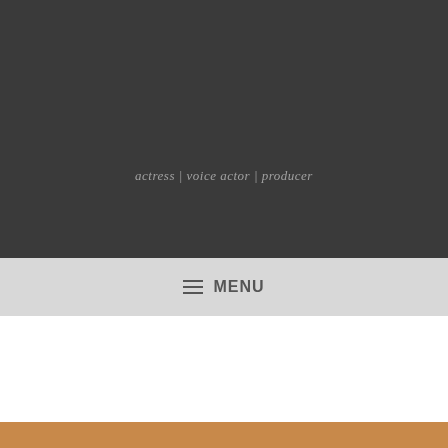[Figure (screenshot): Dark grey header background area of a personal website]
actress | voice actor | producer
≡ MENU
[Figure (photo): Partial view of a wooden surface or furniture, warm brown color, visible at the bottom of the page]